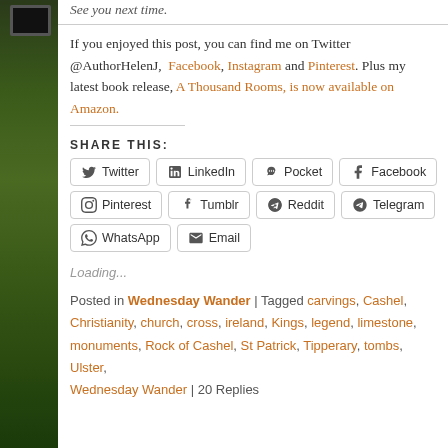See you next time.
If you enjoyed this post, you can find me on Twitter @AuthorHelenJ, Facebook, Instagram and Pinterest. Plus my latest book release, A Thousand Rooms, is now available on Amazon.
SHARE THIS:
Twitter
LinkedIn
Pocket
Facebook
Pinterest
Tumblr
Reddit
Telegram
WhatsApp
Email
Loading...
Posted in Wednesday Wander | Tagged carvings, Cashel, Christianity, church, cross, ireland, Kings, legend, limestone, monuments, Rock of Cashel, St Patrick, Tipperary, tombs, Ulster, Wednesday Wander | 20 Replies